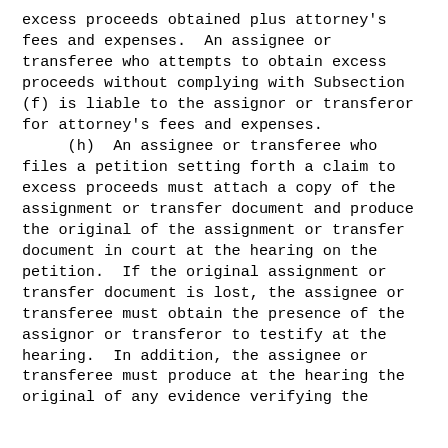excess proceeds obtained plus attorney's fees and expenses.  An assignee or transferee who attempts to obtain excess proceeds without complying with Subsection (f) is liable to the assignor or transferor for attorney's fees and expenses.
        (h)  An assignee or transferee who files a petition setting forth a claim to excess proceeds must attach a copy of the assignment or transfer document and produce the original of the assignment or transfer document in court at the hearing on the petition.  If the original assignment or transfer document is lost, the assignee or transferee must obtain the presence of the assignor or transferor to testify at the hearing.  In addition, the assignee or transferee must produce at the hearing the original of any evidence verifying the